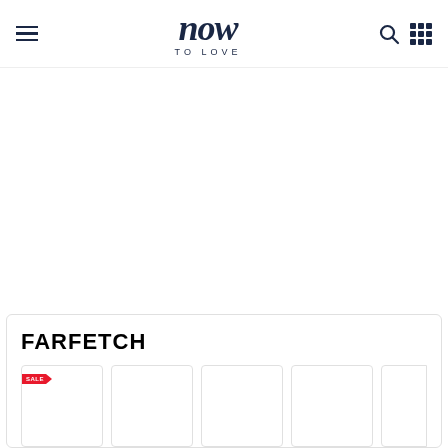now TO LOVE — navigation header with hamburger menu, logo, search and grid icons
[Figure (logo): Farfetch brand logo in bold black uppercase text]
[Figure (other): Row of five product cards, first card has a red sale/flag badge labeled 'SALE']